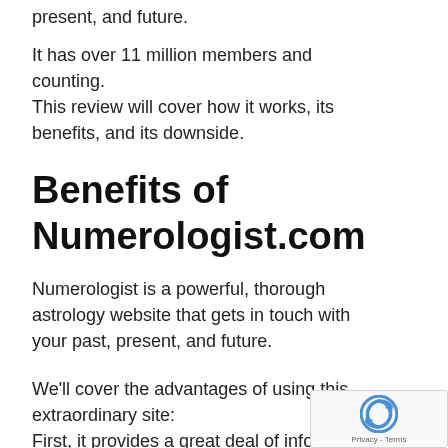present, and future.
It has over 11 million members and counting.
This review will cover how it works, its benefits, and its downside.
Benefits of Numerologist.com
Numerologist is a powerful, thorough astrology website that gets in touch with your past, present, and future.
We'll cover the advantages of using this extraordinary site:
First, it provides a great deal of informati...
[Figure (other): reCAPTCHA widget overlay in bottom-right corner showing the reCAPTCHA logo and 'Privacy - Terms' text]